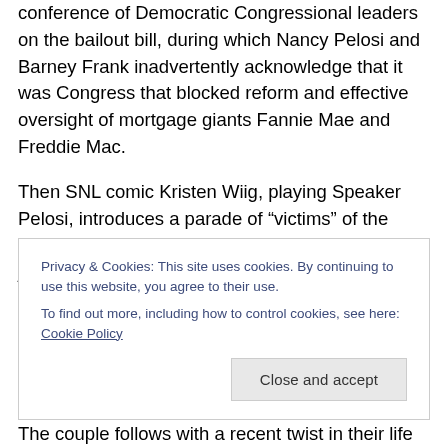The seven-minute sketch featured a mock news conference of Democratic Congressional leaders on the bailout bill, during which Nancy Pelosi and Barney Frank inadvertently acknowledge that it was Congress that blocked reform and effective oversight of mortgage giants Fannie Mae and Freddie Mac.
Then SNL comic Kristen Wiig, playing Speaker Pelosi, introduces a parade of “victims” of the housing crisis. These “real Americans” include two jobless deadbeats who bought houses with no down-payment and a preppy couple who can’t flip the dozen time-share condos they
Privacy & Cookies: This site uses cookies. By continuing to use this website, you agree to their use.
To find out more, including how to control cookies, see here: Cookie Policy
Close and accept
The couple follows with a recent twist in their life